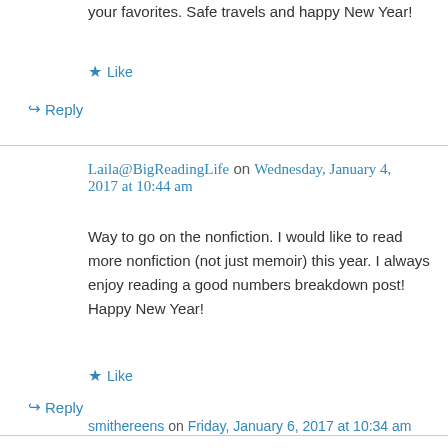your favorites. Safe travels and happy New Year!
★ Like
↪ Reply
Laila@BigReadingLife on Wednesday, January 4, 2017 at 10:44 am
Way to go on the nonfiction. I would like to read more nonfiction (not just memoir) this year. I always enjoy reading a good numbers breakdown post! Happy New Year!
★ Like
↪ Reply
smithereens on Friday, January 6, 2017 at 10:34 am